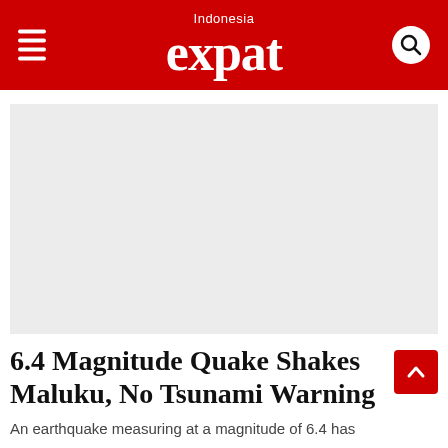Indonesia expat
[Figure (photo): Large placeholder image area (light grey), likely a photo related to the earthquake article]
6.4 Magnitude Quake Shakes Maluku, No Tsunami Warning
An earthquake measuring at a magnitude of 6.4 has